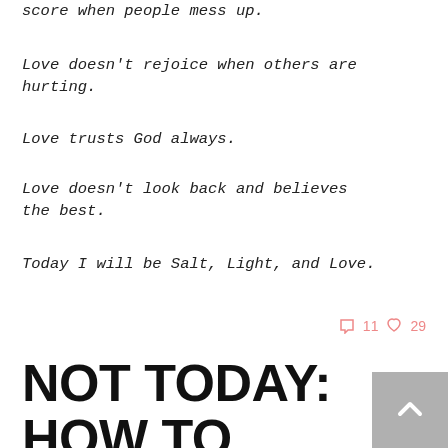score when people mess up.
Love doesn't rejoice when others are hurting.
Love trusts God always.
Love doesn't look back and believes the best.
Today I will be Salt, Light, and Love.
💬 11  ♡ 29
NOT TODAY: HOW TO FIGHT THE FIGHT